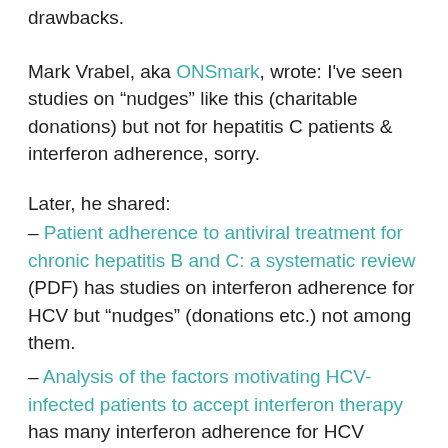drawbacks.
Mark Vrabel, aka ONSmark, wrote: I've seen studies on “nudges” like this (charitable donations) but not for hepatitis C patients & interferon adherence, sorry.
Later, he shared:
– Patient adherence to antiviral treatment for chronic hepatitis B and C: a systematic review (PDF) has studies on interferon adherence for HCV but “nudges” (donations etc.) not among them.
– Analysis of the factors motivating HCV-infected patients to accept interferon therapy has many interferon adherence for HCV factors but “nudges” (donations etc.) not among them.